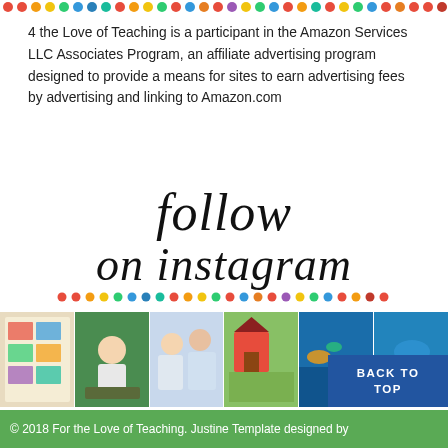[Figure (other): Colorful dot border row at top of page]
4 the Love of Teaching is a participant in the Amazon Services LLC Associates Program, an affiliate advertising program designed to provide a means for sites to earn advertising fees by advertising and linking to Amazon.com
[Figure (illustration): Script/cursive text reading 'follow on instagram' with colorful dot row below]
[Figure (photo): Strip of six Instagram photos showing children learning, educational materials, and aquarium]
BACK TO TOP
© 2018 For the Love of Teaching. Justine Template designed by